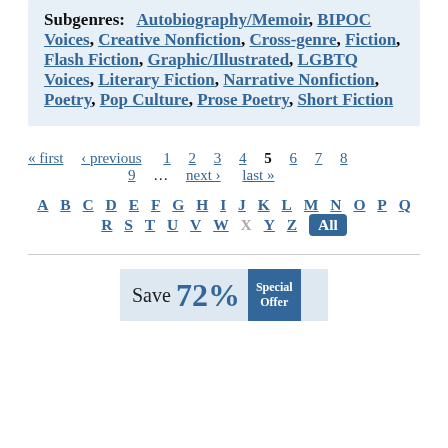Subgenres: Autobiography/Memoir, BIPOC Voices, Creative Nonfiction, Cross-genre, Fiction, Flash Fiction, Graphic/Illustrated, LGBTQ Voices, Literary Fiction, Narrative Nonfiction, Poetry, Pop Culture, Prose Poetry, Short Fiction
« first ‹ previous 1 2 3 4 5 6 7 8 9 … next › last »
A B C D E F G H I J K L M N O P Q R S T U V W X Y Z All
[Figure (other): Advertisement banner showing 'Save 72% Special Offer']